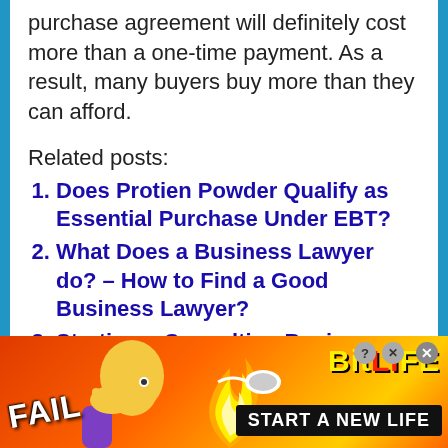purchase agreement will definitely cost more than a one-time payment. As a result, many buyers buy more than they can afford.
Related posts:
Does Protien Powder Qualify as Essential Purchase Under EBT?
What Does a Business Lawyer do? – How to Find a Good Business Lawyer?
Starting a Consulting Business – How to Start Your Own Consulting
[Figure (other): Advertisement banner for BitLife game showing FAIL text, animated character, fire, sperm logo, and 'START A NEW LIFE' text on orange/red background]